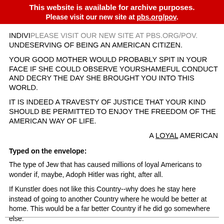This website is available for archive purposes. Please visit our new site at pbs.org/pov.
INDIVIDUALS VISIT OUR NEW SITE AT PBS.ORG/POV. UNDESERVING OF BEING AN AMERICAN CITIZEN.
YOUR GOOD MOTHER WOULD PROBABLY SPIT IN YOUR FACE IF SHE COULD OBSERVE YOURSHAMEFUL CONDUCT AND DECRY THE DAY SHE BROUGHT YOU INTO THIS WORLD.
IT IS INDEED A TRAVESTY OF JUSTICE THAT YOUR KIND SHOULD BE PERMITTED TO ENJOY THE FREEDOM OF THE AMERICAN WAY OF LIFE.
A LOYAL AMERICAN
Typed on the envelope:
The type of Jew that has caused millions of loyal Americans to wonder if, maybe, Adoph Hitler was right, after all.
If Kunstler does not like this Country--why does he stay here instead of going to another Country where he would be better at home. This would be a far better Country if he did go somewhere else.